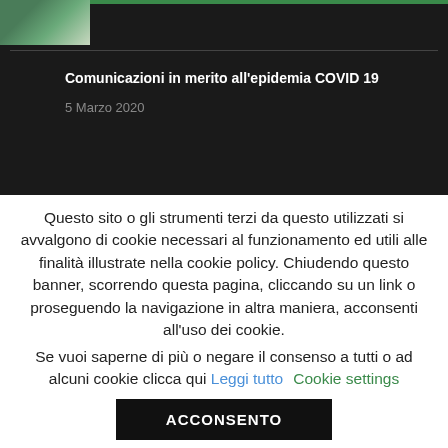[Figure (screenshot): Dark background website header area with a partial image thumbnail (landscape/outdoor scene) in the top-left corner, a green bar, and a horizontal divider line]
Comunicazioni in merito all'epidemia COVID 19
5 Marzo 2020
Questo sito o gli strumenti terzi da questo utilizzati si avvalgono di cookie necessari al funzionamento ed utili alle finalità illustrate nella cookie policy. Chiudendo questo banner, scorrendo questa pagina, cliccando su un link o proseguendo la navigazione in altra maniera, acconsenti all'uso dei cookie. Se vuoi saperne di più o negare il consenso a tutti o ad alcuni cookie clicca qui Leggi tutto   Cookie settings
ACCONSENTO